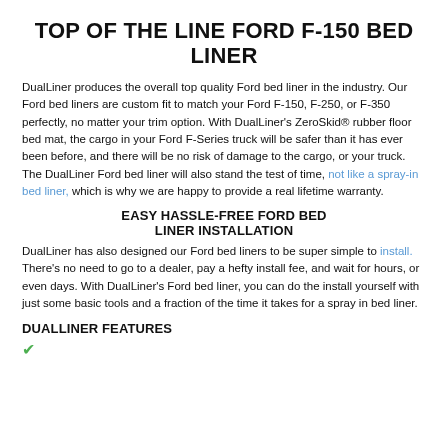TOP OF THE LINE FORD F-150 BED LINER
DualLiner produces the overall top quality Ford bed liner in the industry. Our Ford bed liners are custom fit to match your Ford F-150, F-250, or F-350 perfectly, no matter your trim option. With DualLiner's ZeroSkid® rubber floor bed mat, the cargo in your Ford F-Series truck will be safer than it has ever been before, and there will be no risk of damage to the cargo, or your truck. The DualLiner Ford bed liner will also stand the test of time, not like a spray-in bed liner, which is why we are happy to provide a real lifetime warranty.
EASY HASSLE-FREE FORD BED LINER INSTALLATION
DualLiner has also designed our Ford bed liners to be super simple to install. There's no need to go to a dealer, pay a hefty install fee, and wait for hours, or even days. With DualLiner's Ford bed liner, you can do the install yourself with just some basic tools and a fraction of the time it takes for a spray in bed liner.
DUALLINER FEATURES